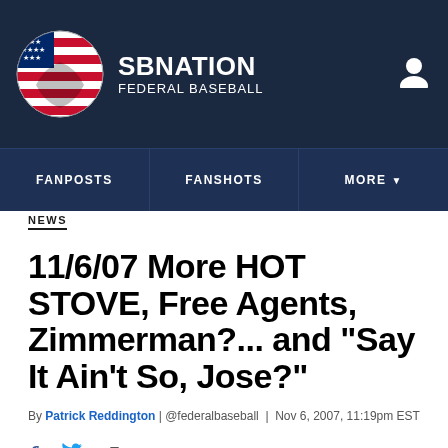SB NATION · FEDERAL BASEBALL
NEWS
11/6/07 More HOT STOVE, Free Agents, Zimmerman?... and "Say It Ain't So, Jose?"
By Patrick Reddington | @federalbaseball | Nov 6, 2007, 11:19pm EST